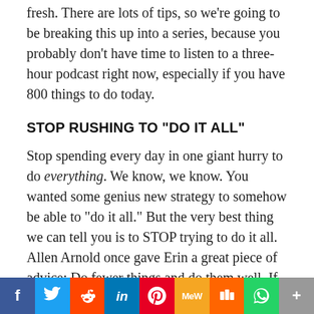fresh. There are lots of tips, so we're going to be breaking this up into a series, because you probably don't have time to listen to a three-hour podcast right now, especially if you have 800 things to do today.
STOP RUSHING TO "DO IT ALL"
Stop spending every day in one giant hurry to do everything. We know, we know. You wanted some genius new strategy to somehow be able to "do it all." But the very best thing we can tell you is to STOP trying to do it all. Allen Arnold once gave Erin a great piece of advice: Do fewer things and do them well. If you're able to take this to heart, it will change your life. You have to make a conscious decision about what's most important to you and
[Figure (other): Social sharing bar with buttons for Facebook, Twitter, Reddit, LinkedIn, Pinterest, MeWe, Mix, WhatsApp, and More]